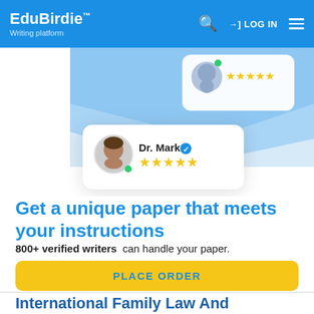EduBirdie™ Writing platform | LOG IN
[Figure (illustration): UI cards showing writer profiles with star ratings. Dr. Mark F card with 5 gold stars and blue verified badge visible on a light blue background.]
Get a unique paper that meets your instructions
800+ verified writers can handle your paper.
PLACE ORDER
International Family Law And Litigation